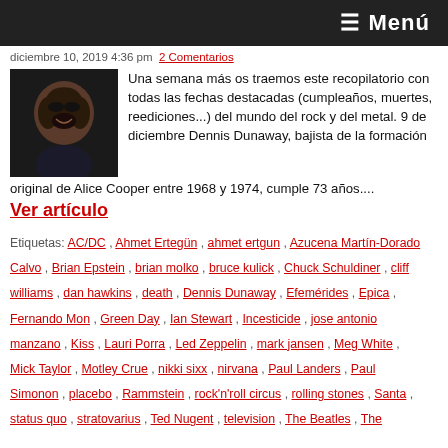≡ Menú
diciembre 10, 2019 4:36 pm  2 Comentarios
Una semana más os traemos este recopilatorio con todas las fechas destacadas (cumpleaños, muertes, reediciones...) del mundo del rock y del metal. 9 de diciembre Dennis Dunaway, bajista de la formación original de Alice Cooper entre 1968 y 1974, cumple 73 años....
Ver artículo
Etiquetas: AC/DC , Ahmet Ertegün , ahmet ertgun , Azucena Martín-Dorado Calvo , Brian Epstein , brian molko , bruce kulick , Chuck Schuldiner , cliff williams , dan hawkins , death , Dennis Dunaway , Efemérides , Epica , Fernando Mon , Green Day , Ian Stewart , Incesticide , jose antonio manzano , Kiss , Lauri Porra , Led Zeppelin , mark jansen , Meg White , Mick Taylor , Motley Crue , nikki sixx , nirvana , Paul Landers , Paul Simonon , placebo , Rammstein , rock'n'roll circus , rolling stones , Santa , status quo , stratovarius , Ted Nugent , television , The Beatles , The